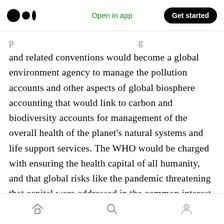Medium logo | Open in app | Get started
and related conventions would become a global environment agency to manage the pollution accounts and other aspects of global biosphere accounting that would link to carbon and biodiversity accounts for management of the overall health of the planet's natural systems and life support services. The WHO would be charged with ensuring the health capital of all humanity, and that global risks like the pandemic threatening that capital were addressed in the common interest. The ILO would have oversight of the human capacity to generate wealth and
Home | Search | Profile